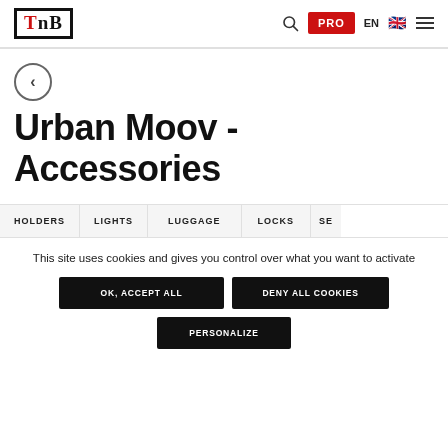TnB logo, search, PRO, EN, flag, menu
[Figure (logo): TnB logo with red T]
Urban Moov - Accessories
HOLDERS
LIGHTS
LUGGAGE
LOCKS
SE...
This site uses cookies and gives you control over what you want to activate
OK, ACCEPT ALL
DENY ALL COOKIES
PERSONALIZE